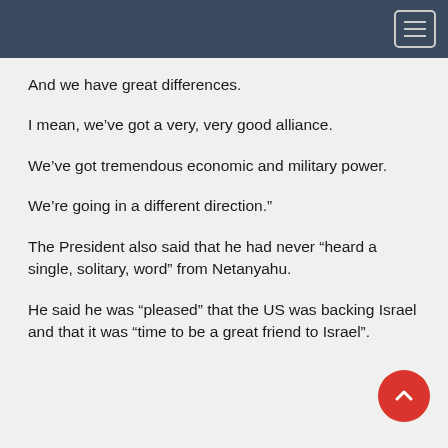And we have great differences.
I mean, we’ve got a very, very good alliance.
We’ve got tremendous economic and military power.
We’re going in a different direction.”
The President also said that he had never “heard a single, solitary, word” from Netanyahu.
He said he was “pleased” that the US was backing Israel and that it was “time to be a great friend to Israel”.